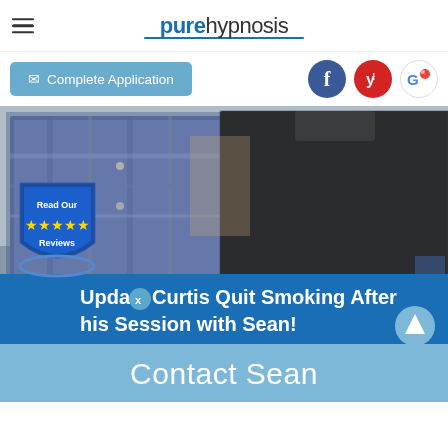pure hypnosis
Complete Application
[Figure (screenshot): Website screenshot showing two people standing together — one in a blue plaid shirt and one in a dark sweater — with a blue banner overlay reading 'Update: Curtis Quit Smoking After his Session with Sean!']
Update: Curtis Quit Smoking After his Session with Sean!
Contact Sean